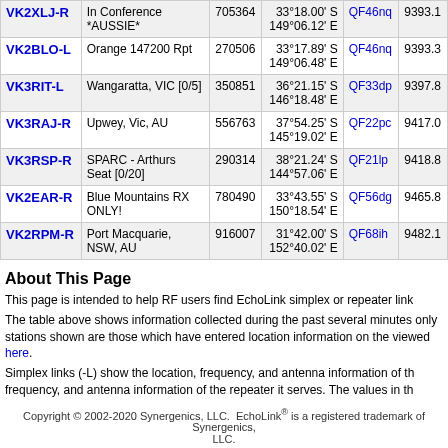| Callsign | Location | Node | Coordinates | Grid | Dist |
| --- | --- | --- | --- | --- | --- |
| VK2XLJ-R | In Conference *AUSSIE* | 705364 | 33°18.00' S 149°06.12' E | QF46nq | 9393.1 |
| VK2BLO-L | Orange 147200 Rpt | 270506 | 33°17.89' S 149°06.48' E | QF46nq | 9393.3 |
| VK3RIT-L | Wangaratta, VIC [0/5] | 350851 | 36°21.15' S 146°18.48' E | QF33dp | 9397.8 |
| VK3RAJ-R | Upwey, Vic, AU | 556763 | 37°54.25' S 145°19.02' E | QF22pc | 9417.0 |
| VK3RSP-R | SPARC - Arthurs Seat [0/20] | 290314 | 38°21.24' S 144°57.06' E | QF21lp | 9418.8 |
| VK2EAR-R | Blue Mountains RX ONLY! | 780490 | 33°43.55' S 150°18.54' E | QF56dg | 9465.8 |
| VK2RPM-R | Port Macquarie, NSW, AU | 916007 | 31°42.00' S 152°40.02' E | QF68ih | 9482.1 |
About This Page
This page is intended to help RF users find EchoLink simplex or repeater link
The table above shows information collected during the past several minutes only stations shown are those which have entered location information on the viewed here.
Simplex links (-L) show the location, frequency, and antenna information of the frequency, and antenna information of the repeater it serves. The values in th
Copyright © 2002-2020 Synergenics, LLC. EchoLink® is a registered trademark of Synergenics, LLC.